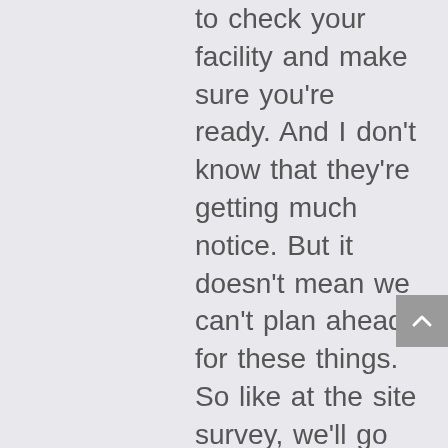to check your facility and make sure you're ready. And I don't know that they're getting much notice. But it doesn't mean we can't plan ahead for these things. So like at the site survey, we'll go there, we'll see things like, Oh, sure, the network cable is in but it's not run. And, you know, a electric, you know, everything's, you know, sketched in kind